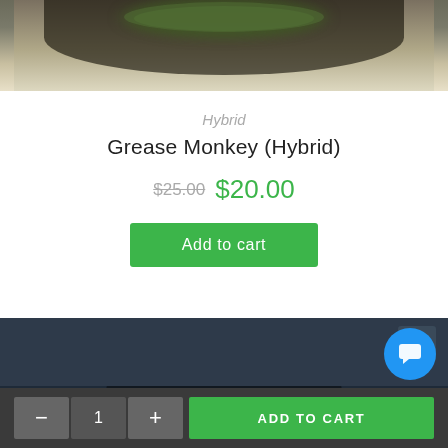[Figure (photo): Top portion of a product photo showing cannabis flower buds in a white bowl/container, partially cropped at top of page]
Hybrid
Grease Monkey (Hybrid)
$25.00  $20.00
Add to cart
[Figure (screenshot): Dark footer area with quantity selector (minus button, 1, plus button) and ADD TO CART green button, plus a blue chat bubble widget and scroll-to-top button]